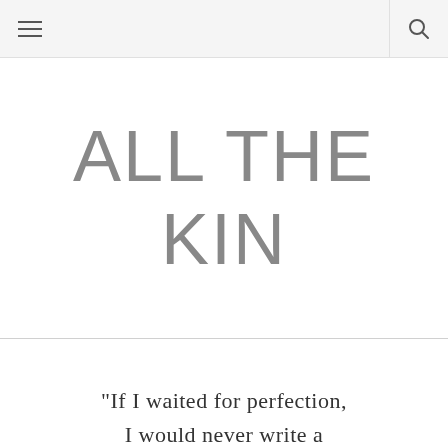≡ 🔍
ALL THE KIN
"If I waited for perfection, I would never write a